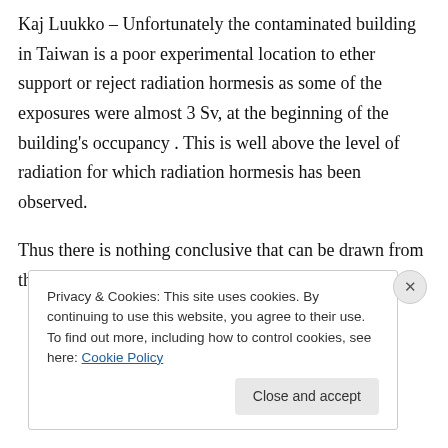Kaj Luukko – Unfortunately the contaminated building in Taiwan is a poor experimental location to ether support or reject radiation hormesis as some of the exposures were almost 3 Sv, at the beginning of the building's occupancy . This is well above the level of radiation for which radiation hormesis has been observed.

Thus there is nothing conclusive that can be drawn from this event in support of radiation
Privacy & Cookies: This site uses cookies. By continuing to use this website, you agree to their use.
To find out more, including how to control cookies, see here: Cookie Policy